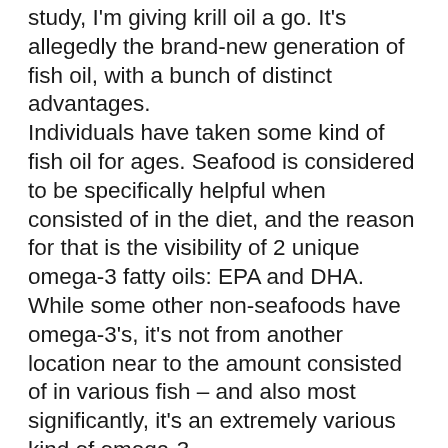study, I'm giving krill oil a go. It's allegedly the brand-new generation of fish oil, with a bunch of distinct advantages. Individuals have taken some kind of fish oil for ages. Seafood is considered to be specifically helpful when consisted of in the diet, and the reason for that is the visibility of 2 unique omega-3 fatty oils: EPA and DHA. While some other non-seafoods have omega-3's, it's not from another location near to the amount consisted of in various fish – and also most significantly, it's an extremely various kind of omega-3. Various health consultatory teams have determined a problem with North American diets: we do not consume adequate fish nowadays. The ordinary American consumes approximately one fish meal per week.1 I